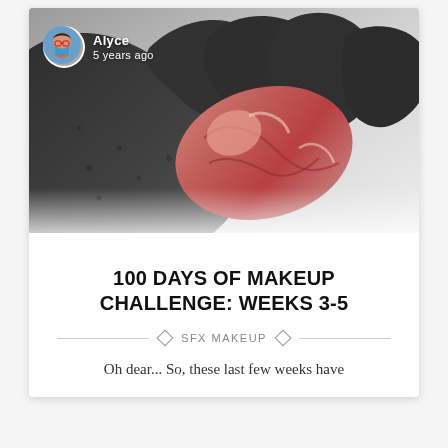[Figure (photo): A dark grey/black textured hand or creature claw holding a piece of raw red meat against a white background. A user avatar (person wearing a blue mask) and author info overlay the top-left of the image.]
100 DAYS OF MAKEUP CHALLENGE: WEEKS 3-5
SFX MAKEUP
Oh dear... So, these last few weeks have